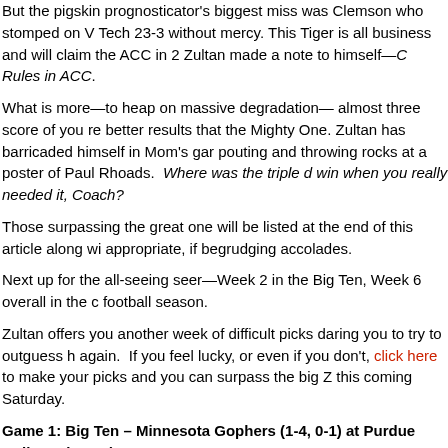But the pigskin prognosticator's biggest miss was Clemson who stomped on Virginia Tech 23-3 without mercy. This Tiger is all business and will claim the ACC in 20... Zultan made a note to himself—C Rules in ACC.
What is more—to heap on massive degradation— almost three score of you readers had better results that the Mighty One. Zultan has barricaded himself in Mom's garage, pouting and throwing rocks at a poster of Paul Rhoads. Where was the triple digit win when you really needed it, Coach?
Those surpassing the great one will be listed at the end of this article along with appropriate, if begrudging accolades.
Next up for the all-seeing seer—Week 2 in the Big Ten, Week 6 overall in the college football season.
Zultan offers you another week of difficult picks daring you to try to outguess him again. If you feel lucky, or even if you don't, click here to make your picks and see if you can surpass the big Z this coming Saturday.
Game 1: Big Ten – Minnesota Gophers (1-4, 0-1) at Purdue Boilermakers (... 0)
Oh, this is a tough one. Can the Gophers win a Big Ten game? This might be Minnesota's only chance to enjoy a Big Ten victory. Too bad the game is on the... for Minny.